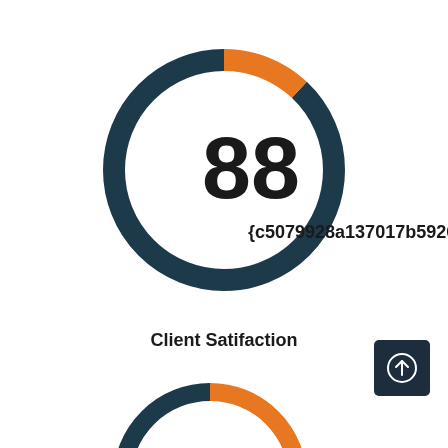[Figure (donut-chart): Client Satifaction]
Client Satifaction
[Figure (donut-chart): ]